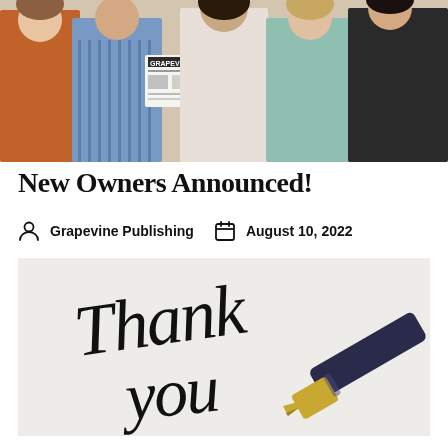[Figure (photo): Group photo of five women, one holding a Grapevine newspaper/magazine]
New Owners Announced!
Grapevine Publishing   August 10, 2022
[Figure (photo): Calligraphic handwriting reading 'Thank you' with a fountain pen visible in the lower right corner, on a light grey background]